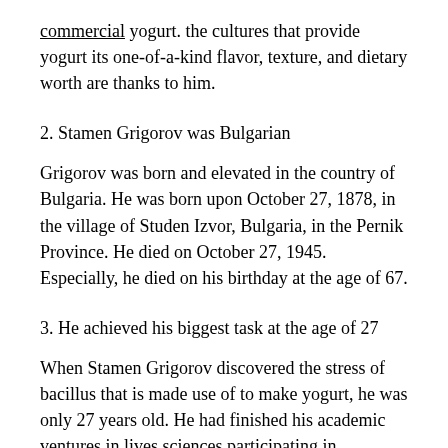commercial yogurt. the cultures that provide yogurt its one-of-a-kind flavor, texture, and dietary worth are thanks to him.
2. Stamen Grigorov was Bulgarian
Grigorov was born and elevated in the country of Bulgaria. He was born upon October 27, 1878, in the village of Studen Izvor, Bulgaria, in the Pernik Province. He died on October 27, 1945. Especially, he died on his birthday at the age of 67.
3. He achieved his biggest task at the age of 27
When Stamen Grigorov discovered the stress of bacillus that is made use of to make yogurt, he was only 27 years old. He had finished his academic ventures in lives sciences participating in universities in Montpellier, France, prior to moving